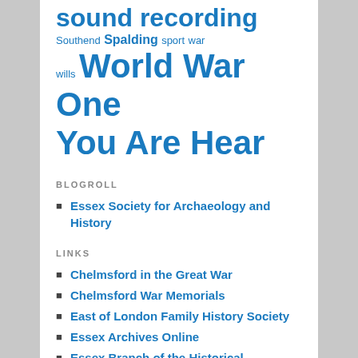sound recording Southend Spalding sport war wills World War One You Are Hear
BLOGROLL
Essex Society for Archaeology and History
LINKS
Chelmsford in the Great War
Chelmsford War Memorials
East of London Family History Society
Essex Archives Online
Essex Branch of the Historical Association
Essex County Council
Essex Cultural Diversity Project
Essex Place Names Project
Essex Society for Archaeology and History blog
Essex Society for Family History
Essex Voices Past